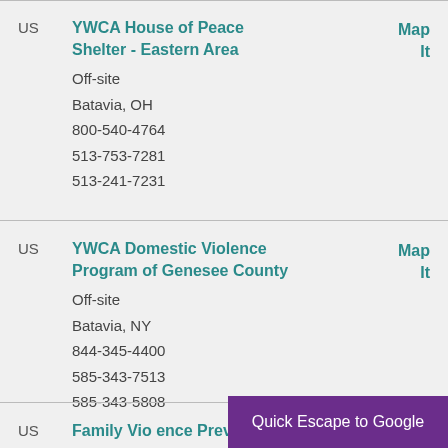US | YWCA House of Peace Shelter - Eastern Area | Map It | Off-site | Batavia, OH | 800-540-4764 | 513-753-7281 | 513-241-7231
US | YWCA Domestic Violence Program of Genesee County | Map It | Off-site | Batavia, NY | 844-345-4400 | 585-343-7513 | 585-343-5808
US | Family Violence Prevention, | Map
Quick Escape to Google